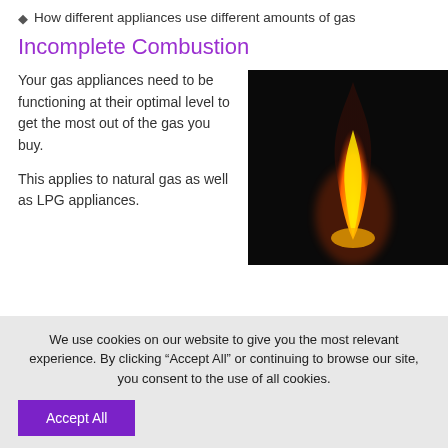How different appliances use different amounts of gas
Incomplete Combustion
Your gas appliances need to be functioning at their optimal level to get the most out of the gas you buy.
This applies to natural gas as well as LPG appliances.
[Figure (photo): A photograph of an orange and yellow flame burning against a black background, tall and narrow in shape.]
We use cookies on our website to give you the most relevant experience. By clicking “Accept All” or continuing to browse our site, you consent to the use of all cookies.